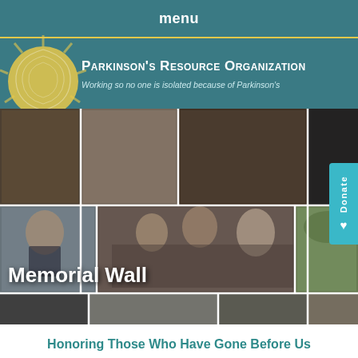menu
[Figure (logo): Parkinson's Resource Organization logo with sunburst yellow circle on teal background]
Parkinson's Resource Organization
Working so no one is isolated because of Parkinson's
[Figure (photo): Photo collage of multiple people in various settings, with Memorial Wall title overlay and Donate button tab]
Memorial Wall
Honoring Those Who Have Gone Before Us